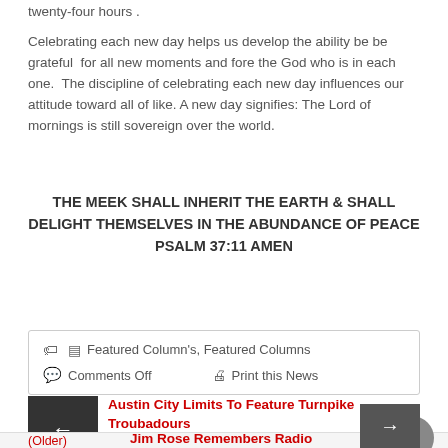twenty-four hours .
Celebrating each new day helps us develop the ability be be grateful for all new moments and fore the God who is in each one. The discipline of celebrating each new day influences our attitude toward all of like. A new day signifies: The Lord of mornings is still sovereign over the world.
THE MEEK SHALL INHERIT THE EARTH & SHALL DELIGHT THEMSELVES IN THE ABUNDANCE OF PEACE PSALM 37:11 AMEN
Featured Column's, Featured Columns
Comments Off
Print this News
Austin City Limits To Feature Turnpike Troubadours (Newer)
Jim Rose Remembers Radio Friday Nov 17, 2017 (Older)